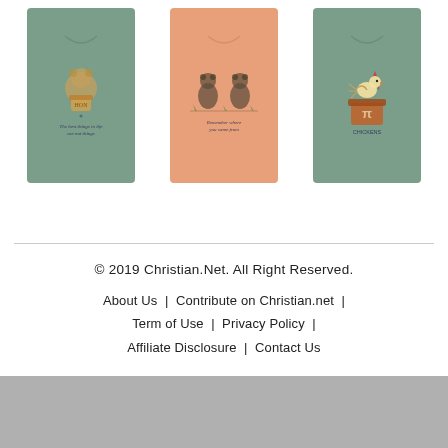[Figure (photo): Three graphic t-shirts displayed side by side. Left and right shirts are sage/muted green color with cartoon/text graphics. Center shirt is peach/salmon color with bear graphics and text.]
© 2019 Christian.Net. All Right Reserved.
About Us  |  Contribute on Christian.net  |  Term of Use  |  Privacy Policy  |  Affiliate Disclosure  |  Contact Us